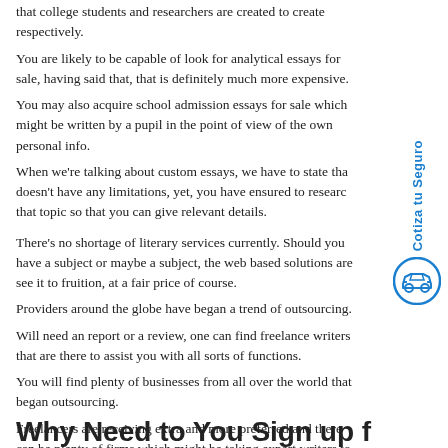that college students and researchers are created to create respectively.
You are likely to be capable of look for analytical essays for sale, having said that, that is definitely much more expensive.
You may also acquire school admission essays for sale which might be written by a pupil in the point of view of the own personal info.
When we're talking about custom essays, we have to state that doesn't have any limitations, yet, you have ensured to research that topic so that you can give relevant details.
There's no shortage of literary services currently. Should you have a subject or maybe a subject, the web based solutions are see it to fruition, at a fair price of course.
Providers around the globe have began a trend of outsourcing.
Will need an report or a review, one can find freelance writers that are there to assist you with all sorts of functions.
You will find plenty of businesses from all over the world that began outsourcing.
Freelancers are receiving extra and more preferred and there can be plenty of firms which might be taking expert writers to write them a lot of subjects and what is most significant, there will never ever be a shortage of work.
[Figure (other): Sidebar widget with blue text 'Cotiza tu Seguro' written vertically and a blue car icon in a circle below it]
Why Need to You Sign up f…